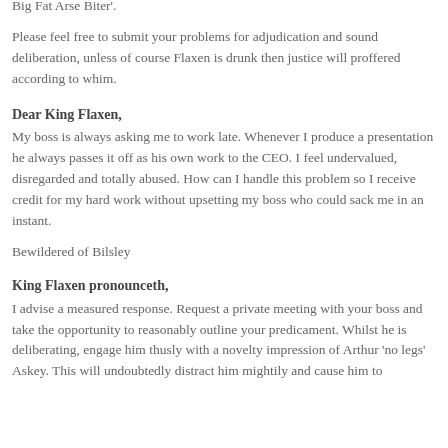Big Fat Arse Biter'.
Please feel free to submit your problems for adjudication and sound deliberation, unless of course Flaxen is drunk then justice will proffered according to whim.
Dear King Flaxen,
My boss is always asking me to work late. Whenever I produce a presentation he always passes it off as his own work to the CEO. I feel undervalued, disregarded and totally abused. How can I handle this problem so I receive credit for my hard work without upsetting my boss who could sack me in an instant.
Bewildered of Bilsley
King Flaxen pronounceth,
I advise a measured response. Request a private meeting with your boss and take the opportunity to reasonably outline your predicament. Whilst he is deliberating, engage him thusly with a novelty impression of Arthur 'no legs' Askey. This will undoubtedly distract him mightily and cause him to